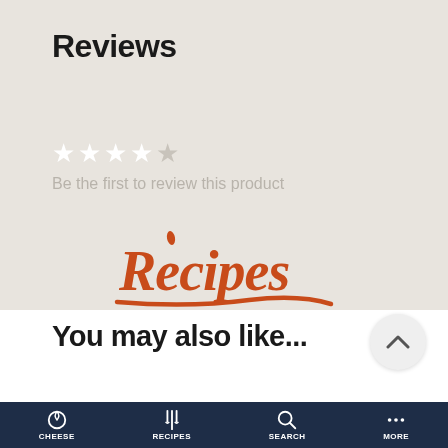Reviews
★★★★★
Be the first to review this product
[Figure (logo): Recipes script logo in orange/burnt-red color with underline brush stroke]
You may also like...
CHEESE | RECIPES | SEARCH | MORE